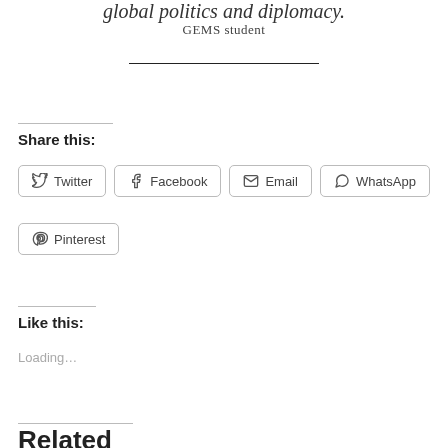global politics and diplomacy.
GEMS student
Share this:
Twitter
Facebook
Email
WhatsApp
Pinterest
Like this:
Loading…
Related